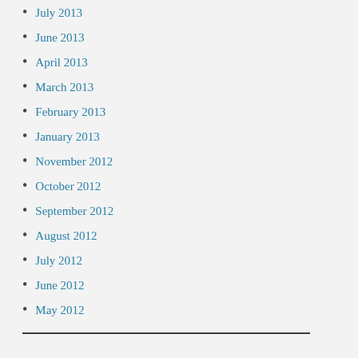July 2013
June 2013
April 2013
March 2013
February 2013
January 2013
November 2012
October 2012
September 2012
August 2012
July 2012
June 2012
May 2012